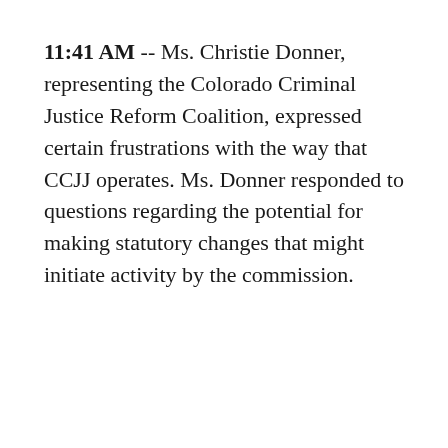11:41 AM -- Ms. Christie Donner, representing the Colorado Criminal Justice Reform Coalition, expressed certain frustrations with the way that CCJJ operates. Ms. Donner responded to questions regarding the potential for making statutory changes that might initiate activity by the commission.